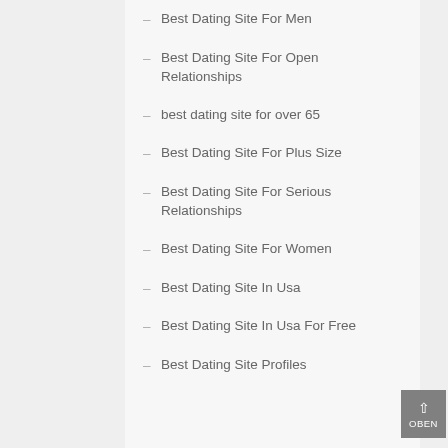– Best Dating Site For Men
– Best Dating Site For Open Relationships
– best dating site for over 65
– Best Dating Site For Plus Size
– Best Dating Site For Serious Relationships
– Best Dating Site For Women
– Best Dating Site In Usa
– Best Dating Site In Usa For Free
– Best Dating Site Profiles